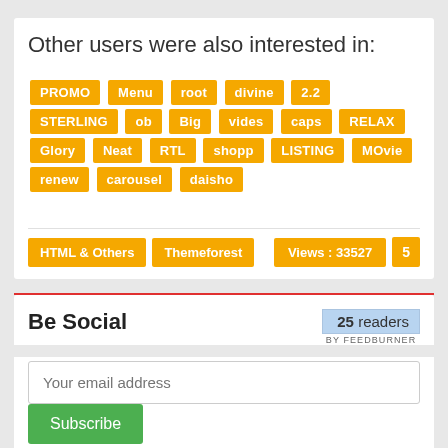Other users were also interested in:
PROMO | Menu | root | divine | 2.2 | STERLING | ob | Big | vides | caps | RELAX | Glory | Neat | RTL | shopp | LISTING | MOvie | renew | carousel | daisho
HTML & Others  Themeforest  Views: 33527  5
Be Social
[Figure (other): FeedBurner reader count badge showing 25 readers BY FEEDBURNER]
Your email address
Subscribe
© Mafiashare.net / Contact / DMCA